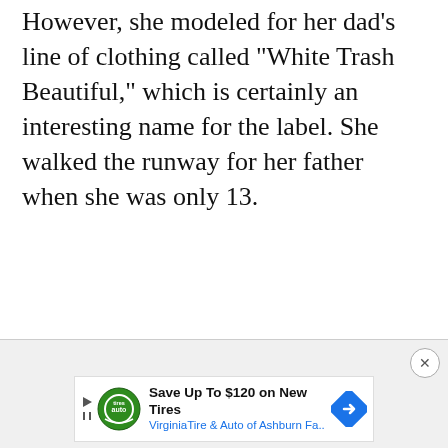However, she modeled for her dad's line of clothing called “White Trash Beautiful,” which is certainly an interesting name for the label. She walked the runway for her father when she was only 13.
[Figure (other): Advertisement banner: Save Up To $120 on New Tires - Virginia Tire & Auto of Ashburn Fa.. with Tires Auto logo and blue diamond arrow icon]